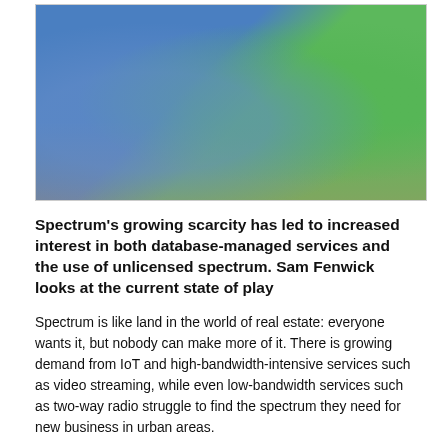[Figure (photo): Photo of colorful plastic puzzle-piece-like figurines or connectors in blue and green, placed on a wooden surface.]
Spectrum's growing scarcity has led to increased interest in both database-managed services and the use of unlicensed spectrum. Sam Fenwick looks at the current state of play
Spectrum is like land in the world of real estate: everyone wants it, but nobody can make more of it. There is growing demand from IoT and high-bandwidth-intensive services such as video streaming, while even low-bandwidth services such as two-way radio struggle to find the spectrum they need for new business in urban areas.
To complicate the situation further, Dean Bubley, founder and director of Disruptive Analytics, says: “There’s a general recognition among the regulators that it's going to be difficult to clear existing bands of incumbent users.” He therefore believes that “there’s going to be relatively less clearance and reuse and